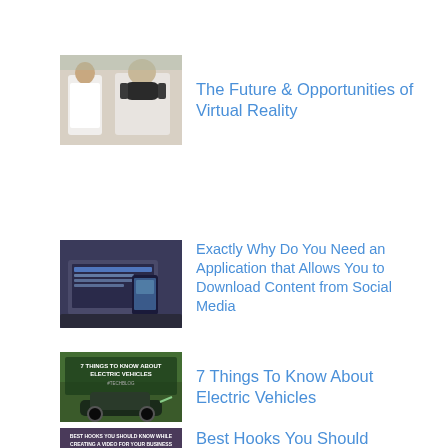[Figure (photo): Doctor in white coat with patient wearing VR headset]
The Future & Opportunities of Virtual Reality
[Figure (photo): Laptop and phone with social media app download text]
Exactly Why Do You Need an Application that Allows You to Download Content from Social Media
[Figure (photo): 7 Things To Know About Electric Vehicles graphic with electric car]
7 Things To Know About Electric Vehicles
[Figure (photo): Best Hooks You Should Know While Creating A Video For Your Business graphic]
Best Hooks You Should